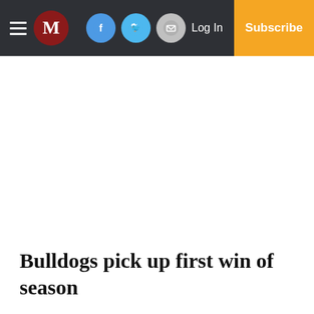M | Log In | Subscribe
Bulldogs pick up first win of season